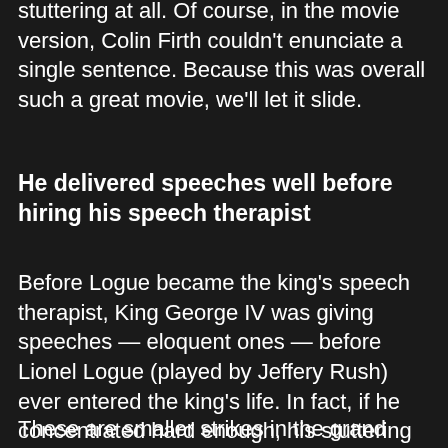stuttering at all. Of course, in the movie version, Colin Firth couldn't enunciate a single sentence. Because this was overall such a great movie, we'll let it slide.
He delivered speeches well before hiring his speech therapist
Before Logue became the king's speech therapist, King George IV was giving speeches — eloquent ones — before Lionel Logue (played by Jeffery Rush) ever entered the king's life. In fact, if he concentrated hard enough, his stuttering would stop all together. But that wouldn't make much of a movie.
These are smaller strikes in the grand scheme of things, but the etiquette